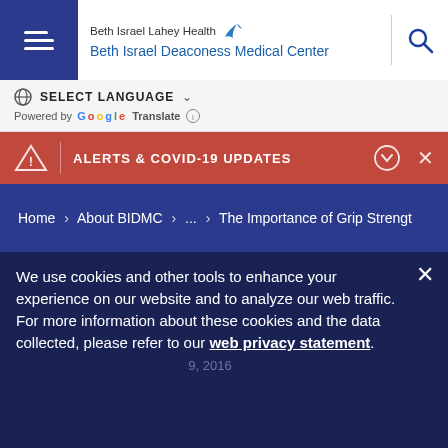Beth Israel Lahey Health Beth Israel Deaconess Medical Center
SELECT LANGUAGE  Powered by Google Translate
ALERTS & COVID-19 UPDATES
Home > About BIDMC > ... > The Importance of Grip Strengt
The Importance of Grip Strength
We use cookies and other tools to enhance your experience on our website and to analyze our web traffic. For more information about these cookies and the data collected, please refer to our web privacy statement.